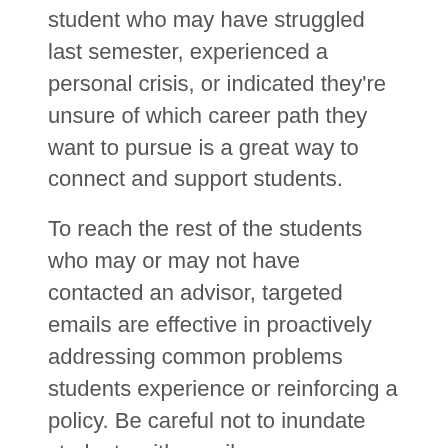student who may have struggled last semester, experienced a personal crisis, or indicated they're unsure of which career path they want to pursue is a great way to connect and support students.
To reach the rest of the students who may or may not have contacted an advisor, targeted emails are effective in proactively addressing common problems students experience or reinforcing a policy. Be careful not to inundate students with emails, as we are competing with the myriad of other offices that are also sending emails. Make sure to send the emails during strategic times, and target them to only the students who need the information. For instance, avoid sending an announcement about graduation to freshman. If you do not have the tools to distinguish between students by